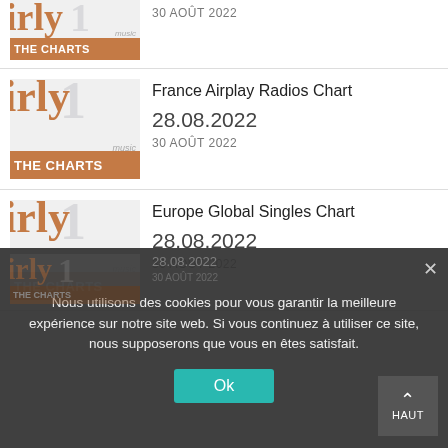30 AOÛT 2022
France Airplay Radios Chart
28.08.2022
30 AOÛT 2022
Europe Global Singles Chart
28.08.2022
30 AOÛT 2022
Nous utilisons des cookies pour vous garantir la meilleure expérience sur notre site web. Si vous continuez à utiliser ce site, nous supposerons que vous en êtes satisfait.
Ok